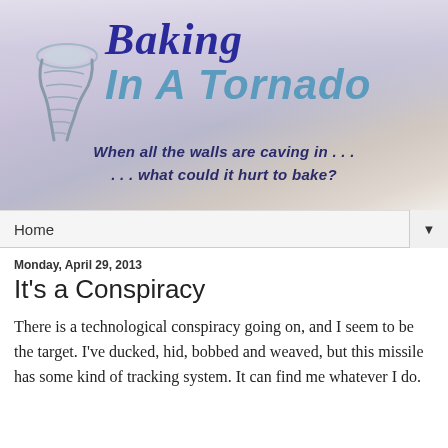[Figure (illustration): Blog header banner with a purple-grey sky background, a tornado/funnel cloud illustration on the left, and the blog title 'Baking In A Tornado' in large styled text with taglines below.]
Home ▼
Monday, April 29, 2013
It's a Conspiracy
There is a technological conspiracy going on, and I seem to be the target. I've ducked, hid, bobbed and weaved, but this missile has some kind of tracking system. It can find me whatever I do.